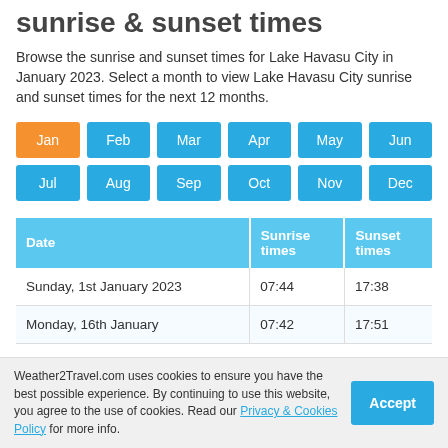sunrise & sunset times
Browse the sunrise and sunset times for Lake Havasu City in January 2023. Select a month to view Lake Havasu City sunrise and sunset times for the next 12 months.
| Date | Sunrise times | Sunset times |
| --- | --- | --- |
| Sunday, 1st January 2023 | 07:44 | 17:38 |
| Monday, 16th January | 07:42 | 17:51 |
Weather2Travel.com uses cookies to ensure you have the best possible experience. By continuing to use this website, you agree to the use of cookies. Read our Privacy & Cookies Policy for more info.